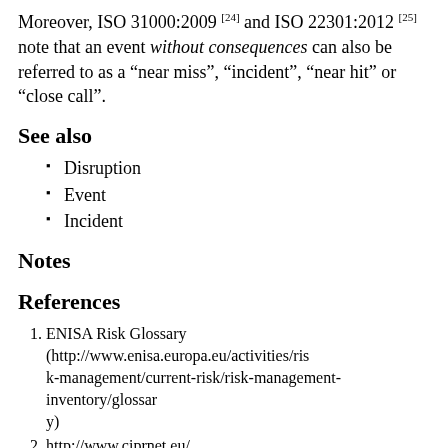Moreover, ISO 31000:2009 [24] and ISO 22301:2012 [25] note that an event without consequences can also be referred to as a “near miss”, “incident”, “near hit” or “close call”.
See also
Disruption
Event
Incident
Notes
References
1. ENISA Risk Glossary (http://www.enisa.europa.eu/activities/risk-management/current-risk/risk-management-inventory/glossary)
2. http://www.ciprnet.eu/
3. Glosario Comites Emergencia Argentina (http://www.buenosaires.gob.ar/areas/salud/ceh/archivos/glosario_comites_emergenci